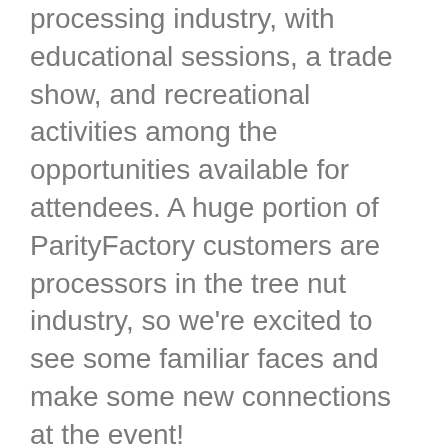processing industry, with educational sessions, a trade show, and recreational activities among the opportunities available for attendees. A huge portion of ParityFactory customers are processors in the tree nut industry, so we're excited to see some familiar faces and make some new connections at the event!
With the ever-growing need for efficiency and information-driven decision making in the nut processing space, a capable WMS can be an indispensable asset for processors that want to continue growing in 2021 and beyond. From adapting to changes in the supply chain, reducing loss/waste, or meeting the extremely high demands of both government agencies and private consumers, digital traceability and production management can provide solutions to issues that impact all food and beverage processors, regardless of their what they process. Helping our clients tackle these challenges is what we do best, and in the past